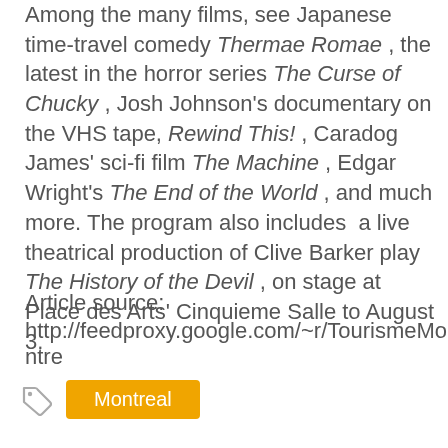Among the many films, see Japanese time-travel comedy Thermae Romae , the latest in the horror series The Curse of Chucky , Josh Johnson's documentary on the VHS tape, Rewind This! , Caradog James' sci-fi film The Machine , Edgar Wright's The End of the World , and much more. The program also includes a live theatrical production of Clive Barker play The History of the Devil , on stage at Place des Arts' Cinquieme Salle to August 3.
Article source: http://feedproxy.google.com/~r/TourismeMontreal
Montreal